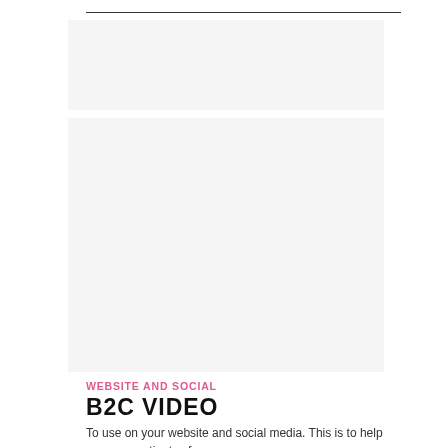[Figure (other): Light gray placeholder box at top of page]
[Figure (other): Light gray placeholder box in middle of page]
WEBSITE AND SOCIAL
B2C VIDEO
To use on your website and social media. This is to help reassure patients of any